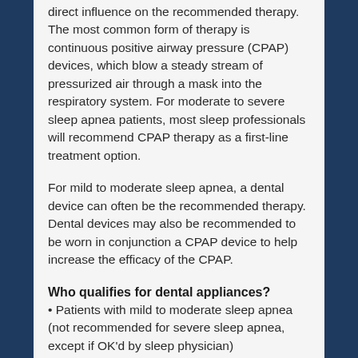direct influence on the recommended therapy. The most common form of therapy is continuous positive airway pressure (CPAP) devices, which blow a steady stream of pressurized air through a mask into the respiratory system. For moderate to severe sleep apnea patients, most sleep professionals will recommend CPAP therapy as a first-line treatment option.
For mild to moderate sleep apnea, a dental device can often be the recommended therapy. Dental devices may also be recommended to be worn in conjunction a CPAP device to help increase the efficacy of the CPAP.
Who qualifies for dental appliances?
• Patients with mild to moderate sleep apnea (not recommended for severe sleep apnea, except if OK'd by sleep physician)